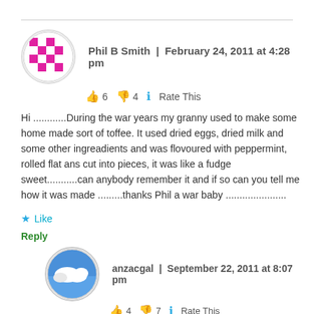Phil B Smith | February 24, 2011 at 4:28 pm
👍 6 👎 4 ℹ Rate This
Hi ............During the war years my granny used to make some home made sort of toffee. It used dried eggs, dried milk and some other ingreadients and was flovoured with peppermint, rolled flat ans cut into pieces, it was like a fudge sweet...........can anybody remember it and if so can you tell me how it was made .........thanks Phil a war baby ......................
★ Like
Reply
anzacgal | September 22, 2011 at 8:07 pm
👍 4 👎 7 ℹ Rate This